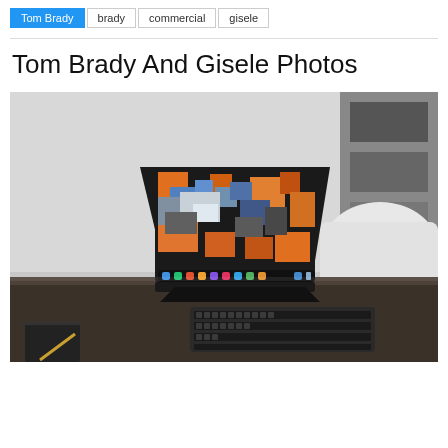Tom Brady | brady | commercial | gisele
Tom Brady And Gisele Photos
[Figure (photo): iPad Pro in a black folio case propped up on a dark wooden desk with a wireless keyboard in front of it. The iPad screen shows a colorful, abstract city/map wallpaper with orange, blue, and gray blocks. A blurred background shows a white couch and shelving unit.]